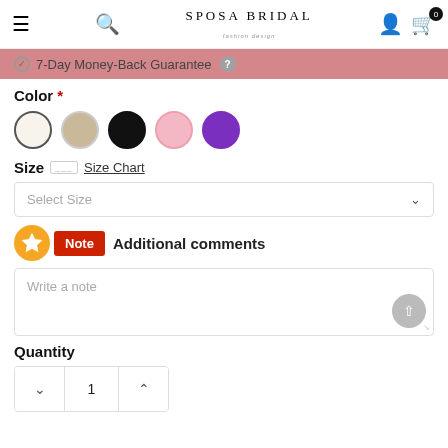SPOSA BRIDAL
7-Day Money-Back Guarantee
Color *
[Figure (illustration): Five color swatches: white/ivory, tan/champagne, black, pink, purple]
Size   Size Chart
Select Size
Note   Additional comments
Write a note
Quantity
1